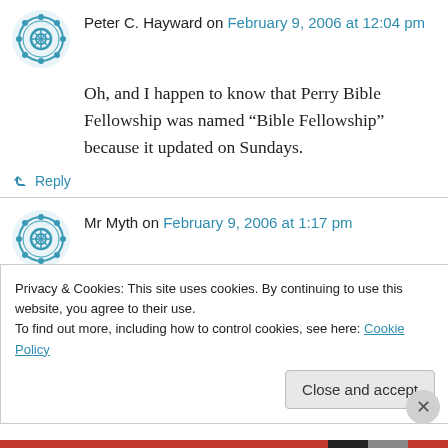Peter C. Hayward on February 9, 2006 at 12:04 pm
Oh, and I happen to know that Perry Bible Fellowship was named “Bible Fellowship” because it updated on Sundays.
↳ Reply
Mr Myth on February 9, 2006 at 1:17 pm
Definite agreement on the update difference, and hey – one mystery solved!
Privacy & Cookies: This site uses cookies. By continuing to use this website, you agree to their use.
To find out more, including how to control cookies, see here: Cookie Policy
Close and accept